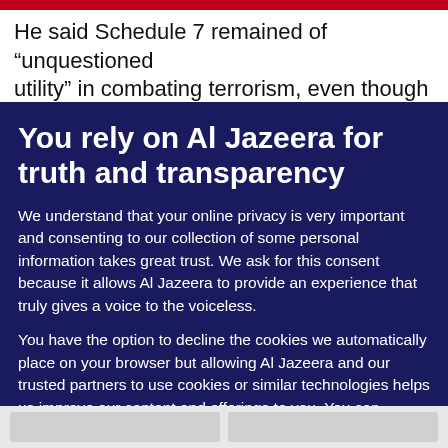He said Schedule 7 remained of “unquestioned utility” in combating terrorism, even though nearly
You rely on Al Jazeera for truth and transparency
We understand that your online privacy is very important and consenting to our collection of some personal information takes great trust. We ask for this consent because it allows Al Jazeera to provide an experience that truly gives a voice to the voiceless.
You have the option to decline the cookies we automatically place on your browser but allowing Al Jazeera and our trusted partners to use cookies or similar technologies helps us improve our content and offerings to you. You can change your privacy preferences at any time by selecting ‘Cookie preferences’ at the bottom of your screen. To learn more, please view our Cookie Policy.